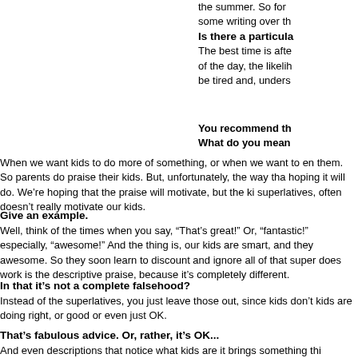the summer. So for some writing over th
Is there a particula The best time is afte of the day, the likelih be tired and, unders
You recommend th What do you mean
When we want kids to do more of something, or when we want to en them. So parents do praise their kids. But, unfortunately, the way tha hoping it will do. We're hoping that the praise will motivate, but the ki superlatives, often doesn't really motivate our kids.
Give an example.
Well, think of the times when you say, “That’s great!” Or, “fantastic!” especially, “awesome!” And the thing is, our kids are smart, and they awesome. So they soon learn to discount and ignore all of that super does work is the descriptive praise, because it’s completely different.
In that it’s not a complete falsehood?
Instead of the superlatives, you just leave those out, since kids don’t kids are doing right, or good or even just OK.
That’s fabulous advice. Or, rather, it’s OK...
And even descriptions that notice what kids are it brings something thi